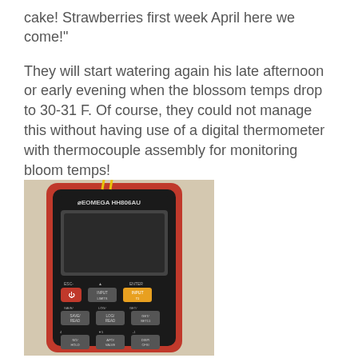cake! Strawberries first week April here we come!”
They will start watering again his late afternoon or early evening when the blossom temps drop to 30-31 F. Of course, they could not manage this without having use of a digital thermometer with thermocouple assembly for monitoring bloom temps!
[Figure (photo): Photo of an OMEGA HH806AU digital thermometer with thermocouple assembly. The device has a red plastic casing, a black LCD display screen, and several buttons including a red power button, yellow INPUT button, and other labeled buttons (ESC, SAVE/READ, LOG/READ, HOLD/VALVE, DISP/CFSI, etc.). A yellow wire (thermocouple) is visible at the top of the device.]